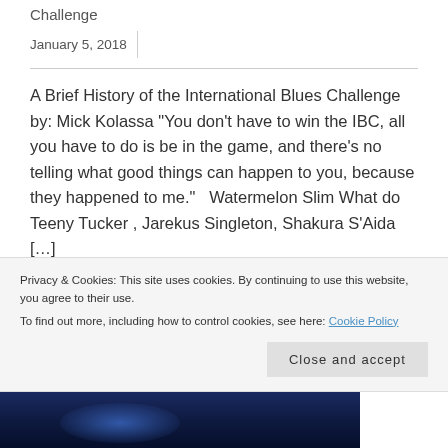Challenge
January 5, 2018
A Brief History of the International Blues Challenge by: Mick Kolassa “You don’t have to win the IBC, all you have to do is be in the game, and there’s no telling what good things can happen to you, because they happened to me.”   Watermelon Slim What do Teeny Tucker , Jarekus Singleton, Shakura S’Aida […]
More ›
Privacy & Cookies: This site uses cookies. By continuing to use this website, you agree to their use.
To find out more, including how to control cookies, see here: Cookie Policy
Close and accept
[Figure (photo): Dark blue-toned photo strip at the bottom, showing a dimly lit scene with blue glowing light, appears to be a concert or performance setting.]